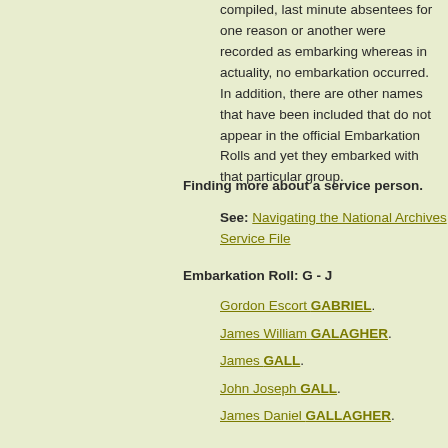compiled, last minute absentees for one reason or another were recorded as embarking whereas in actuality, no embarkation occurred. In addition, there are other names that have been included that do not appear in the official Embarkation Rolls and yet they embarked with that particular group.
Finding more about a service person.
See: Navigating the National Archives Service File
Embarkation Roll: G - J
Gordon Escort GABRIEL.
James William GALAGHER.
James GALL.
John Joseph GALL.
James Daniel GALLAGHER.